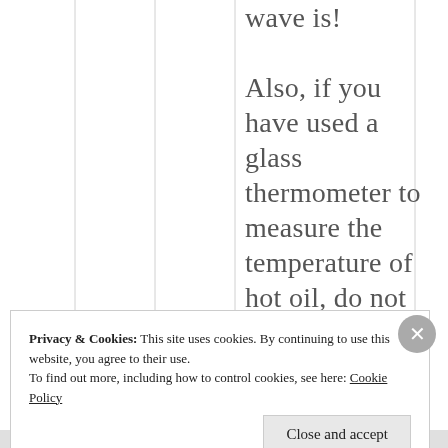wave is!

Also, if you have used a glass thermometer to measure the temperature of hot oil, do not try to
Privacy & Cookies: This site uses cookies. By continuing to use this website, you agree to their use. To find out more, including how to control cookies, see here: Cookie Policy